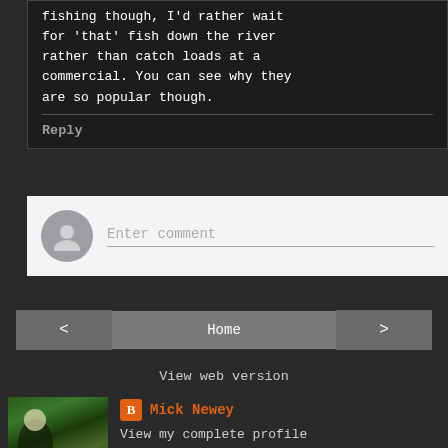fishing though, I'd rather wait for 'that' fish down the river rather than catch loads at a commercial. You can see why they are so popular though.
Reply
Enter comment
Home
View web version
Mick Newey
View my complete profile